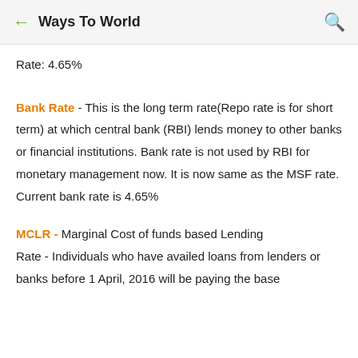Ways To World
Rate: 4.65%
Bank Rate - This is the long term rate(Repo rate is for short term) at which central bank (RBI) lends money to other banks or financial institutions. Bank rate is not used by RBI for monetary management now. It is now same as the MSF rate. Current bank rate is 4.65%
MCLR - Marginal Cost of funds based Lending Rate - Individuals who have availed loans from lenders or banks before 1 April, 2016 will be paying the base